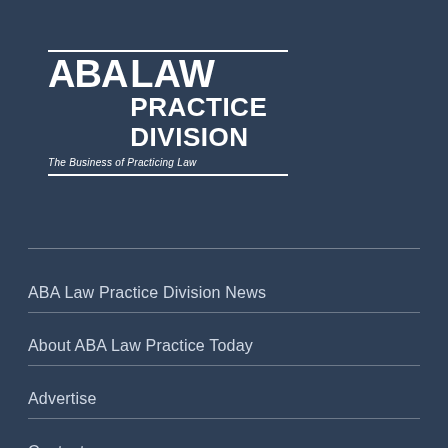[Figure (logo): ABA Law Practice Division logo — white text on dark navy background. Shows 'ABA' in large bold letters alongside 'LAW PRACTICE DIVISION' stacked. Tagline: 'The Business of Practicing Law'. Framed by horizontal rules top and bottom.]
ABA Law Practice Division News
About ABA Law Practice Today
Advertise
Contact
Information